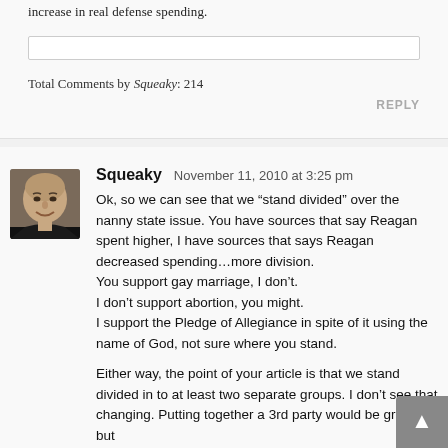increase in real defense spending.
Total Comments by Squeaky: 214
REPLY
[Figure (photo): Avatar photo of a bald man in a black shirt, smiling.]
Squeaky  November 11, 2010 at 3:25 pm
Ok, so we can see that we “stand divided” over the nanny state issue. You have sources that say Reagan spent higher, I have sources that says Reagan decreased spending…more division.
You support gay marriage, I don’t.
I don’t support abortion, you might.
I support the Pledge of Allegiance in spite of it using the name of God, not sure where you stand.

Either way, the point of your article is that we stand divided in to at least two separate groups. I don’t see that changing. Putting together a 3rd party would be great, but